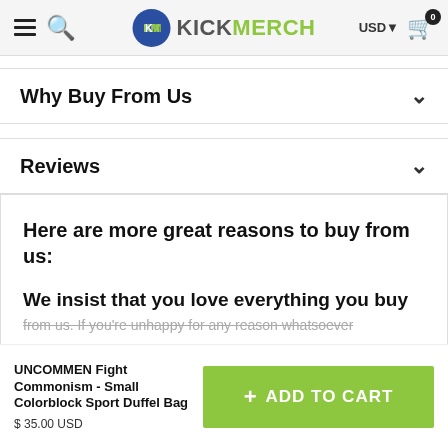KICKMERCH — USD — Cart (0)
Why Buy From Us
Reviews
Here are more great reasons to buy from us:
We insist that you love everything you buy from us. If you're unhappy for any reason whatsoever
UNCOMMEN Fight Commonism - Small Colorblock Sport Duffel Bag
$35.00 USD